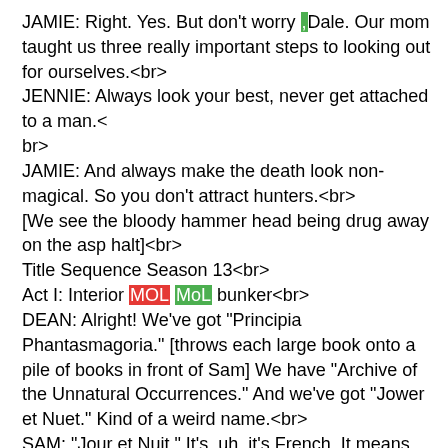JAMIE: Right. Yes. But don't worry ,Dale. Our mom taught us three really important steps to looking out for ourselves.<br>
JENNIE: Always look your best, never get attached to a man.<br>
JAMIE: And always make the death look non-magical. So you don't attract hunters.<br>
[We see the bloody hammer head being drug away on the asphalt]<br>
Title Sequence Season 13<br>
Act I: Interior MOL MoL bunker<br>
DEAN: Alright! We've got "Principia Phantasmagoria." [throws each large book onto a pile of books in front of Sam] We have "Archive of the Unnatural Occurrences." And we've got "Jower et Nuet." Kind of a weird name.<br>
SAM: "Jour et Nuit." It's, uh, it's French. It means "The Book of Day and Night."<br>
Demon: Smooth. [smugly] We gave the warding a little kick. Just for you.<br>
[Demon exits prison area]<br>
LUCIFER: Thanks. So considerate. Appreciate that a lot. [Yelli